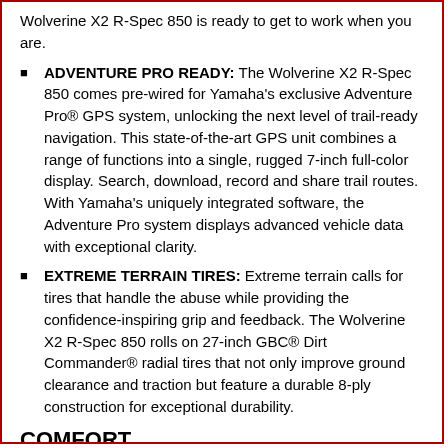Wolverine X2 R-Spec 850 is ready to get to work when you are.
ADVENTURE PRO READY: The Wolverine X2 R-Spec 850 comes pre-wired for Yamaha's exclusive Adventure Pro® GPS system, unlocking the next level of trail-ready navigation. This state-of-the-art GPS unit combines a range of functions into a single, rugged 7-inch full-color display. Search, download, record and share trail routes. With Yamaha's uniquely integrated software, the Adventure Pro system displays advanced vehicle data with exceptional clarity.
EXTREME TERRAIN TIRES: Extreme terrain calls for tires that handle the abuse while providing the confidence-inspiring grip and feedback. The Wolverine X2 R-Spec 850 rolls on 27-inch GBC® Dirt Commander® radial tires that not only improve ground clearance and traction but feature a durable 8-ply construction for exceptional durability.
COMFORT
SMOOTH, QUIET POWERTRAIN: Thanks to helical-cut drivetrain gearing, the rubber-mounted and